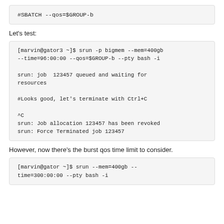[Figure (screenshot): Code box showing: #SBATCH --qos=$GROUP-b]
Let's test:
[Figure (screenshot): Terminal session showing srun command, job queued message, Ctrl+C termination, and job revocation messages for job 123457]
However, now there's the burst qos time limit to consider.
[Figure (screenshot): Code box showing: [marvin@gator ~]$ srun --mem=400gb --time=300:00:00 --pty bash -i]